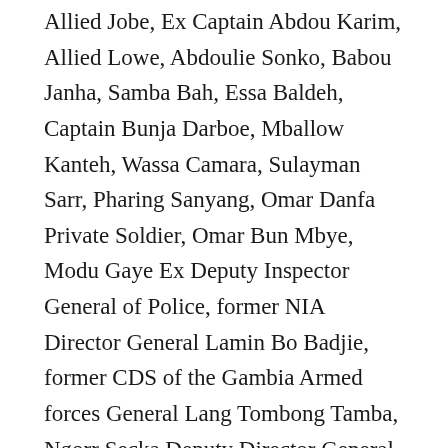Allied Jobe, Ex Captain Abdou Karim, Allied Lowe, Abdoulie Sonko, Babou Janha, Samba Bah, Essa Baldeh, Captain Bunja Darboe, Mballow Kanteh, Wassa Camara, Sulayman Sarr, Pharing Sanyang, Omar Danfa Private Soldier, Omar Bun Mbye, Modu Gaye Ex Deputy Inspector General of Police, former NIA Director General Lamin Bo Badjie, former CDS of the Gambia Armed forces General Lang Tombong Tamba, Ngorr Secka Deputy Director General NIA and Ex Ambassador to Guinea Bissau, Kawsu Camara Alias Bombardier, Captain Yaya MS Darboe, Abdoulie Joof, Marabout Omar Faal, Ex Captain Pierre John Mendy, Ex Lieutenant Landing Sanneh and Foday Kassama. The following who had served in President Jammeh's administration were also pardoned: Ensa Badjie Ex Inspector General of Police, former Minister of Justice